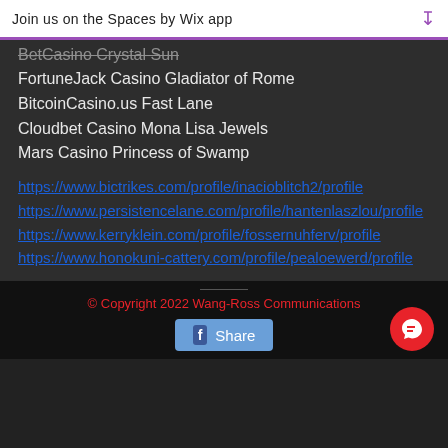Join us on the Spaces by Wix app
BetCasino Crystal Sun (truncated)
FortuneJack Casino Gladiator of Rome
BitcoinCasino.us Fast Lane
Cloudbet Casino Mona Lisa Jewels
Mars Casino Princess of Swamp
https://www.bictrikes.com/profile/inacioblitch2/profile
https://www.persistencelane.com/profile/hantenlaszlou/profile
https://www.kerryklein.com/profile/fossernuhferv/profile
https://www.honokuni-cattery.com/profile/pealoewerd/profile
© Copyright 2022 Wang-Ross Communications